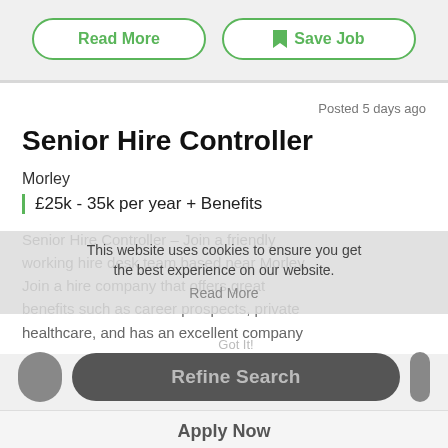[Figure (screenshot): Two buttons: 'Read More' and 'Save Job' with green rounded borders on a light grey background]
Posted 5 days ago
Senior Hire Controller
Morley
£25k - 35k per year + Benefits
Senior Hire Controller – Join a friendly working hire desk team based near Morley. Join a hire company that offers great benefits such as career prospects, private healthcare, and has an excellent company
This website uses cookies to ensure you get the best experience on our website.
Read More
Got It!
Refine Search
Apply Now